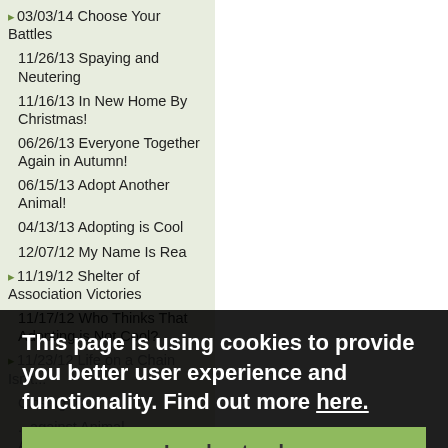03/03/14 Choose Your Battles
11/26/13 Spaying and Neutering
11/16/13 In New Home By Christmas!
06/26/13 Everyone Together Again in Autumn!
06/15/13 Adopt Another Animal!
04/13/13 Adopting is Cool
12/07/12 My Name Is Rea
11/19/12 Shelter of Association Victories
11/17/12 Who Thinks That Adopting is Not Cool?
11/23/12 Life on a Chain Isn't...
...Closing?!?
...against Animal Abandoning
06/28/12 Let Adoption be Your Choice!
06/26/12 Shelters have Reopened!
06/26/12 Urgent Reopening of
This page is using cookies to provide you better user experience and functionality. Find out more here.
I understand